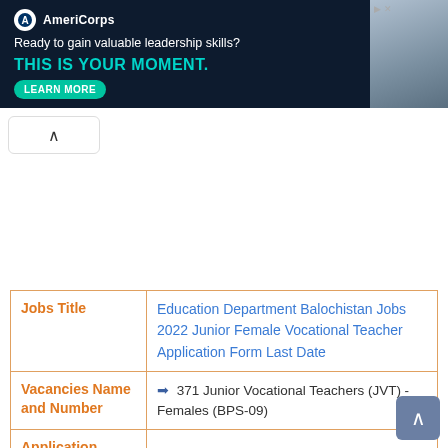[Figure (screenshot): AmeriCorps advertisement banner with dark navy background. Logo with white circular icon, tagline 'Ready to gain valuable leadership skills?', headline 'THIS IS YOUR MOMENT.' in teal, and a 'LEARN MORE' button. Right side shows a photo of people.]
| Jobs Title | Education Department Balochistan Jobs 2022 Junior Female Vocational Teacher Application Form Last Date |
| Vacancies Name and Number | ➡ 371 Junior Vocational Teachers (JVT) - Females (BPS-09) |
| Application |  |